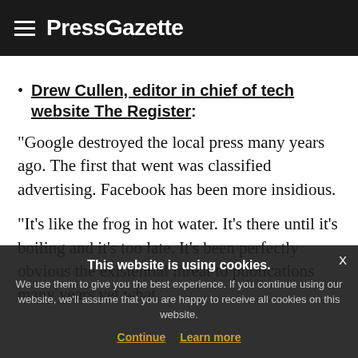PressGazette
Drew Cullen, editor in chief of tech website The Register:
“Google destroyed the local press many years ago. The first that went was classified advertising. Facebook has been more insidious.
“It’s like the frog in hot water. It’s there until it’s boiling and it’s too late. It’s been perfectly obvious the existential threat to publications many years yet what
This website is using cookies. We use them to give you the best experience. If you continue using our website, we’ll assume that you are happy to receive all cookies on this website. Continue | Learn more